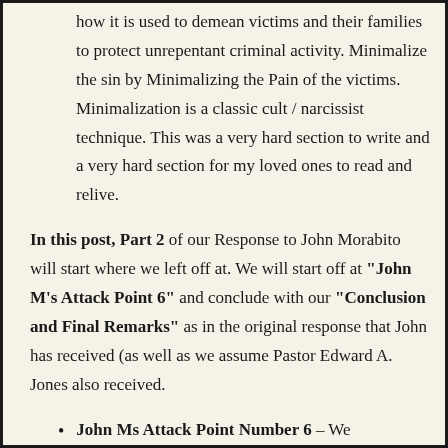how it is used to demean victims and their families to protect unrepentant criminal activity. Minimalize the sin by Minimalizing the Pain of the victims. Minimalization is a classic cult / narcissist technique. This was a very hard section to write and a very hard section for my loved ones to read and relive.
In this post, Part 2 of our Response to John Morabito will start where we left off at. We will start off at "John M's Attack Point 6" and conclude with our "Conclusion and Final Remarks" as in the original response that John has received (as well as we assume Pastor Edward A. Jones also received.
John Ms Attack Point Number 6 – We